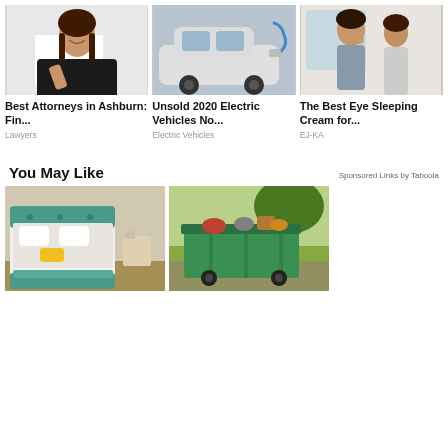[Figure (photo): Woman in black jacket smiling and pointing down at a white blank sign]
[Figure (photo): White electric car being charged with a blue charging cable]
[Figure (photo): Two women in a bathroom, one applying eye cream]
Best Attorneys in Ashburn: Fin...
Unsold 2020 Electric Vehicles No...
The Best Eye Sleeping Cream for...
Lawyers
Electric Vehicles
EJ-KA
You May Like
Sponsored Links by Taboola
[Figure (photo): Modern bedroom furniture with teal upholstered bed and bench]
[Figure (photo): Green dumpster filled with garbage and debris outdoors]